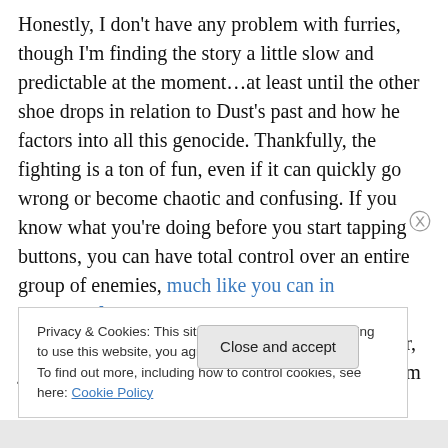Honestly, I don't have any problem with furries, though I'm finding the story a little slow and predictable at the moment…at least until the other shoe drops in relation to Dust's past and how he factors into all this genocide. Thankfully, the fighting is a ton of fun, even if it can quickly go wrong or become chaotic and confusing. If you know what you're doing before you start tapping buttons, you can have total control over an entire group of enemies, much like you can in Guacamelee!, which I do need to get back to soonish. I enjoy knocking enemies up into the air, juggling them for a bit, and then pile-driving them into the
Privacy & Cookies: This site uses cookies. By continuing to use this website, you agree to their use.
To find out more, including how to control cookies, see here: Cookie Policy